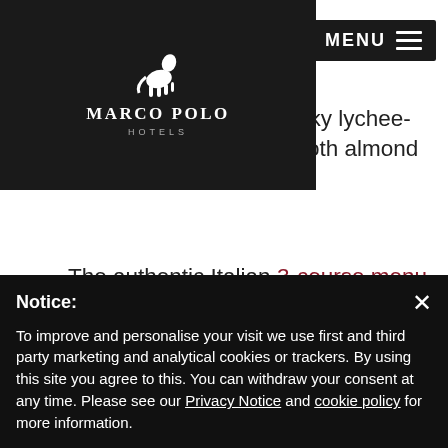MARCO POLO HOTELS
savour the sweet and silky lychee- covered in soft and smooth almond rose foam.
The authentic Italian 3-course menu is priced at HK$698* per person. For an additional HK$360* per person, you can enjoy the finest wines selected by our Sommelier to pair with the menu and the romantic experience.
Cucina adopts different and flexible modes of operation for dine-in services. Please call us for
Notice:

To improve and personalise your visit we use first and third party marketing and analytical cookies or trackers. By using this site you agree to this. You can withdraw your consent at any time. Please see our Privacy Notice and cookie policy for more information.